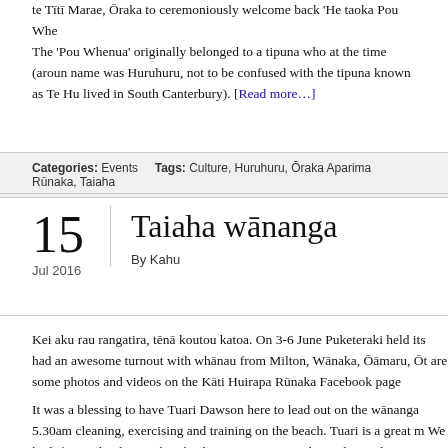te Tītī Marae, Ōraka to ceremoniously welcome back 'He taoka Pou Whe...
The 'Pou Whenua' originally belonged to a tipuna who at the time (aroun... name was Huruhuru, not to be confused with the tipuna known as Te Hu... lived in South Canterbury). [Read more…]
Categories: Events    Tags: Culture, Huruhuru, Ōraka Aparima Rūnaka, Taiaha
Taiaha wānanga
15
Jul 2016
By Kahu
Kei aku rau rangatira, tēnā koutou katoa. On 3-6 June Puketeraki held its... had an awesome turnout with whānau from Milton, Wānaka, Ōāmaru, Ōt... are some photos and videos on the Kāti Huirapa Rūnaka Facebook page...
It was a blessing to have Tuari Dawson here to lead out on the wānanga... 5.30am cleaning, exercising and training on the beach. Tuari is a great m... We look forward to having him back next year. Ngā mihi nui ki ngā kaiāw... whānau, tao noa atu rā ki a koa o te toa matarau Tuari. E koro o oti noo...